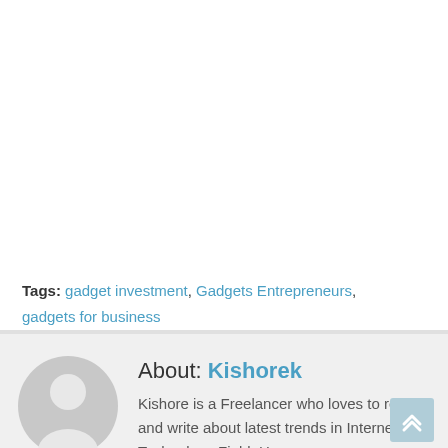Tags: gadget investment, Gadgets Entrepreneurs, gadgets for business
[Figure (illustration): Circular avatar placeholder showing a silhouette of a person, grey tones]
About: Kishorek
Kishore is a Freelancer who loves to read and write about latest trends in Internet and Technology Field. He